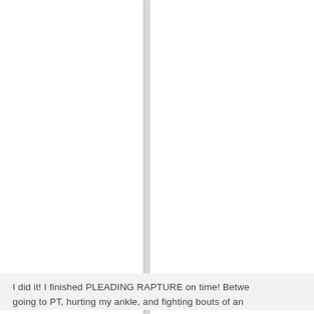I did it! I finished PLEADING RAPTURE on time! Between going to PT, hurting my ankle, and fighting bouts of anxiety...